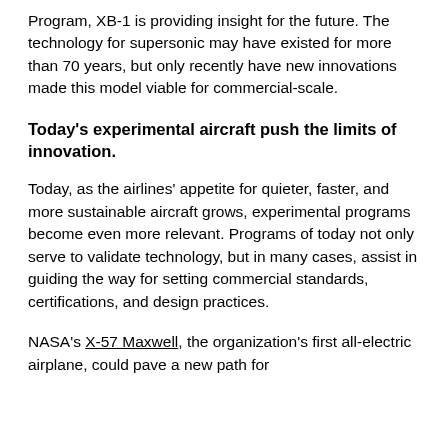Program, XB-1 is providing insight for the future. The technology for supersonic may have existed for more than 70 years, but only recently have new innovations made this model viable for commercial-scale.
Today's experimental aircraft push the limits of innovation.
Today, as the airlines' appetite for quieter, faster, and more sustainable aircraft grows, experimental programs become even more relevant. Programs of today not only serve to validate technology, but in many cases, assist in guiding the way for setting commercial standards, certifications, and design practices.
NASA's X-57 Maxwell, the organization's first all-electric airplane, could pave a new path for